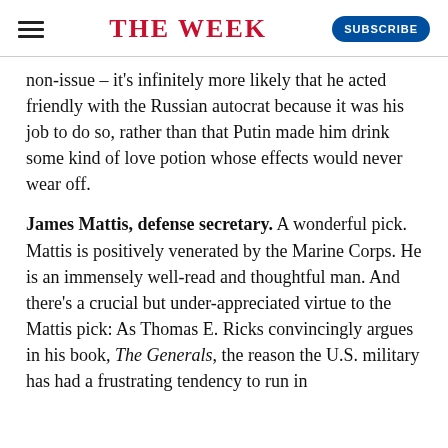THE WEEK
non-issue – it's infinitely more likely that he acted friendly with the Russian autocrat because it was his job to do so, rather than that Putin made him drink some kind of love potion whose effects would never wear off.
James Mattis, defense secretary. A wonderful pick. Mattis is positively venerated by the Marine Corps. He is an immensely well-read and thoughtful man. And there's a crucial but under-appreciated virtue to the Mattis pick: As Thomas E. Ricks convincingly argues in his book, The Generals, the reason the U.S. military has had a frustrating tendency to run in